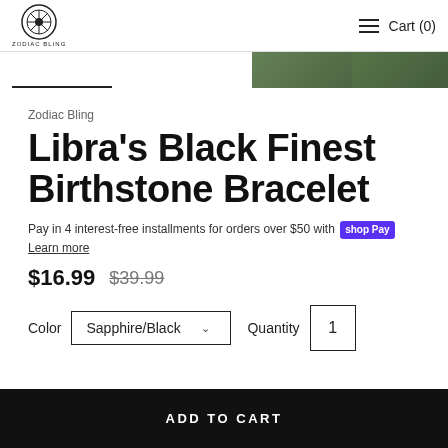ZODIAC BLING   Cart (0)
Zodiac Bling
Libra's Black Finest Birthstone Bracelet
Pay in 4 interest-free installments for orders over $50 with Shop Pay Learn more
$16.99  $39.99
Color  Sapphire/Black  Quantity  1
ADD TO CART